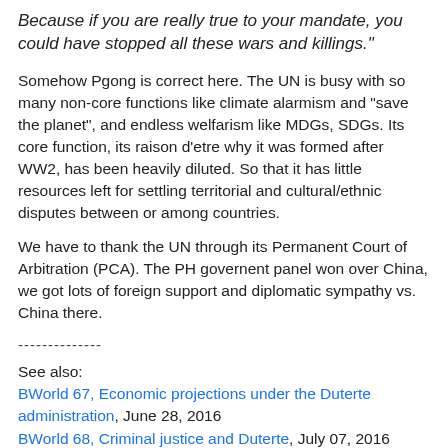Because if you are really true to your mandate, you could have stopped all these wars and killings."
Somehow Pgong is correct here. The UN is busy with so many non-core functions like climate alarmism and "save the planet", and endless welfarism like MDGs, SDGs. Its core function, its raison d'etre why it was formed after WW2, has been heavily diluted. So that it has little resources left for settling territorial and cultural/ethnic disputes between or among countries.
We have to thank the UN through its Permanent Court of Arbitration (PCA). The PH governent panel won over China, we got lots of foreign support and diplomatic sympathy vs. China there.
--------------
See also:
BWorld 67, Economic projections under the Duterte administration, June 28, 2016
BWorld 68, Criminal justice and Duterte, July 07, 2016
BWorld 69, Foreign direct investments and Pros. Duterte